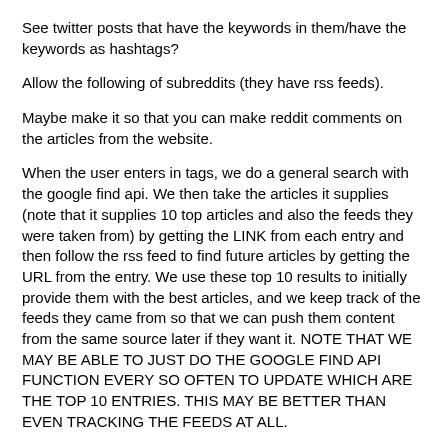See twitter posts that have the keywords in them/have the keywords as hashtags?
Allow the following of subreddits (they have rss feeds).
Maybe make it so that you can make reddit comments on the articles from the website.
When the user enters in tags, we do a general search with the google find api. We then take the articles it supplies (note that it supplies 10 top articles and also the feeds they were taken from) by getting the LINK from each entry and then follow the rss feed to find future articles by getting the URL from the entry. We use these top 10 results to initially provide them with the best articles, and we keep track of the feeds they came from so that we can push them content from the same source later if they want it. NOTE THAT WE MAY BE ABLE TO JUST DO THE GOOGLE FIND API FUNCTION EVERY SO OFTEN TO UPDATE WHICH ARE THE TOP 10 ENTRIES. THIS MAY BE BETTER THAN EVEN TRACKING THE FEEDS AT ALL.